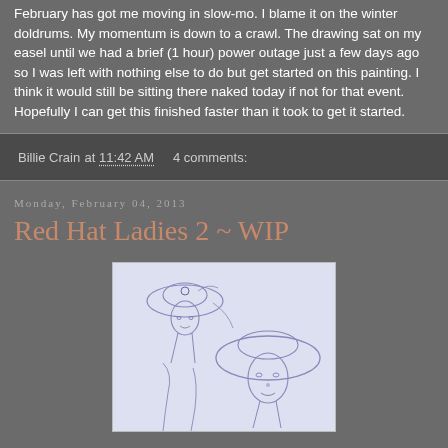February has got me moving in slow-mo. I blame it on the winter doldrums. My momentum is down to a crawl. The drawing sat on my easel until we had a brief (1 hour) power outage just a few days ago so I was left with nothing else to do but get started on this painting. I think it would still be sitting there naked today if not for that event. Hopefully I can get this finished faster than it took to get it started.
Billie Crain at 11:42 AM    4 comments:
Monday, February 04, 2013
Red Hat Ladies 2 ~ WIP
[Figure (illustration): A pencil or blue ink sketch showing two women wearing large hats, drawn in a loose illustrative style on white/light blue paper.]